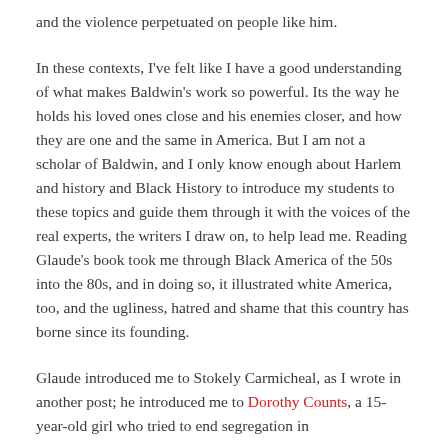and the violence perpetuated on people like him.
In these contexts, I've felt like I have a good understanding of what makes Baldwin's work so powerful. Its the way he holds his loved ones close and his enemies closer, and how they are one and the same in America. But I am not a scholar of Baldwin, and I only know enough about Harlem and history and Black History to introduce my students to these topics and guide them through it with the voices of the real experts, the writers I draw on, to help lead me. Reading Glaude's book took me through Black America of the 50s into the 80s, and in doing so, it illustrated white America, too, and the ugliness, hatred and shame that this country has borne since its founding.
Glaude introduced me to Stokely Carmicheal, as I wrote in another post; he introduced me to Dorothy Counts, a 15-year-old girl who tried to end segregation in